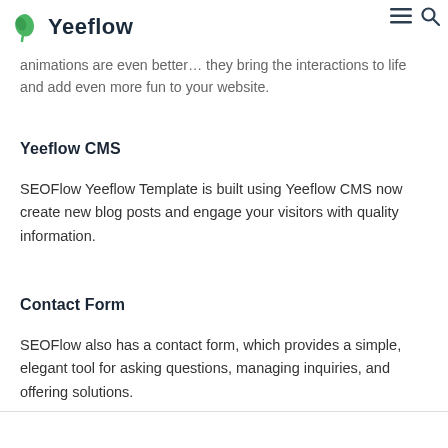Yeeflow
animations are even better… they bring the interactions to life and add even more fun to your website.
Yeeflow CMS
SEOFlow Yeeflow Template is built using Yeeflow CMS now create new blog posts and engage your visitors with quality information.
Contact Form
SEOFlow also has a contact form, which provides a simple, elegant tool for asking questions, managing inquiries, and offering solutions.